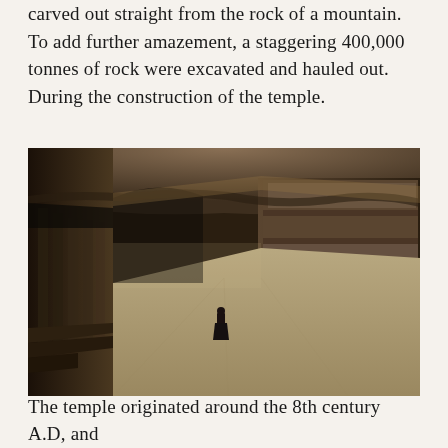carved out straight from the rock of a mountain. To add further amazement, a staggering 400,000 tonnes of rock were excavated and hauled out. During the construction of the temple.
[Figure (photo): Interior courtyard of the Kailasa Temple at Ellora Caves, showing a lone robed figure standing in the vast stone-carved open space, with massive elephant sculptures adorning the temple walls on the right, columns and galleries on the left, all carved from living rock, photographed in dark sepia/monochrome tones.]
The temple originated around the 8th century A.D, and